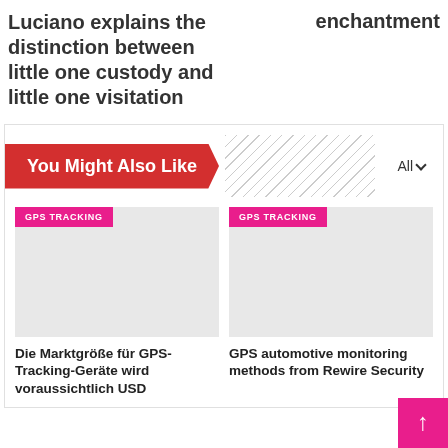Luciano explains the distinction between little one custody and little one visitation
enchantment
You Might Also Like
GPS TRACKING
GPS TRACKING
Die Marktgröße für GPS-Tracking-Geräte wird voraussichtlich USD
GPS automotive monitoring methods from Rewire Security